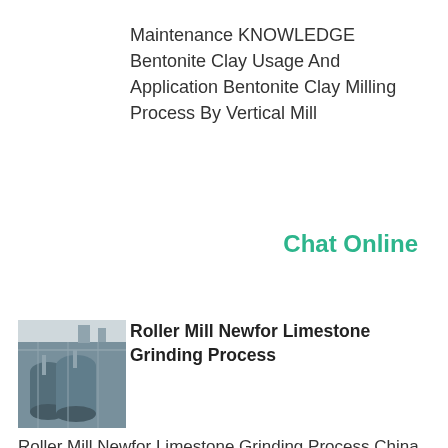Maintenance KNOWLEDGE Bentonite Clay Usage And Application Bentonite Clay Milling Process By Vertical Mill
Chat Online
[Figure (photo): Industrial roller mill / grinding equipment machinery photo]
Roller Mill Newfor Limestone Grinding Process
Roller Mill Newfor Limestone Grinding Process China high quality ultrafine powder grinding mill for high quality grinding mill for kaolinlimestone hgm series ring roller mill is a dry ring roller mill ultrafine powder milling equipment is the fineness of my strengths and weaknesses of domestic and foreign